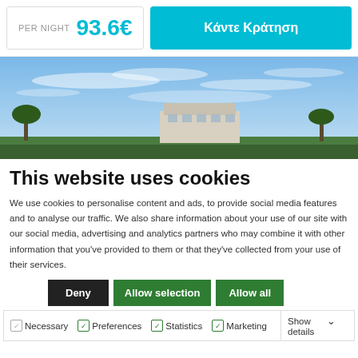PER NIGHT 93.6€
Κάντε Κράτηση
[Figure (photo): Hotel exterior with blue sky and palm trees]
This website uses cookies
We use cookies to personalise content and ads, to provide social media features and to analyse our traffic. We also share information about your use of our site with our social media, advertising and analytics partners who may combine it with other information that you've provided to them or that they've collected from your use of their services.
Deny | Allow selection | Allow all
Necessary  Preferences  Statistics  Marketing  Show details